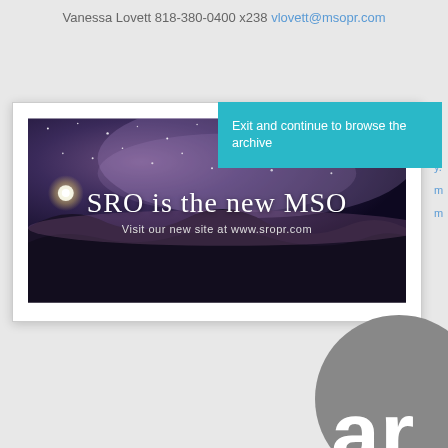Vanessa Lovett 818-380-0400 x238 vlovett@msopr.com
[Figure (screenshot): Modal overlay with teal 'Exit and continue to browse the archive' button over a white card containing a nightscape banner image with text 'SRO is the new MSO – Visit our new site at www.sropr.com']
[Figure (logo): Partial gray circular logo with white letters 'ar' visible in the lower right corner of the page]